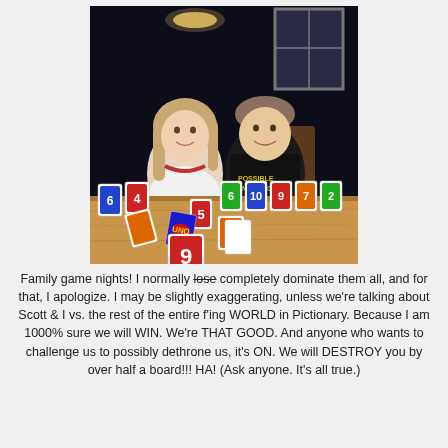[Figure (photo): Two children (a girl and a boy) sitting at a wooden table playing a card game (Uno), smiling at the camera. The room is dark in the background with a window and chandelier visible. Uno cards are spread out on the table.]
Family game nights!  I normally lose completely dominate them all, and for that, I apologize.  I may be slightly exaggerating, unless we're talking about Scott & I vs. the rest of the entire f'ing WORLD in Pictionary.  Because I am 1000% sure we will WIN.  We're THAT GOOD.  And anyone who wants to challenge us to possibly dethrone us, it's ON.  We will DESTROY you by over half a board!!!  HA!  (Ask anyone.  It's all true.)